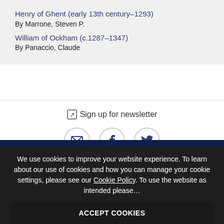Henry of Ghent (early 13th century–1293)
By Marrone, Steven P.
William of Ockham (c.1287–1347)
By Panaccio, Claude
Sign up for newsletter
About Routledge
We use cookies to improve your website experience. To learn about our use of cookies and how you can manage your cookie settings, please see our Cookie Policy. To use the website as intended please...
ACCEPT COOKIES